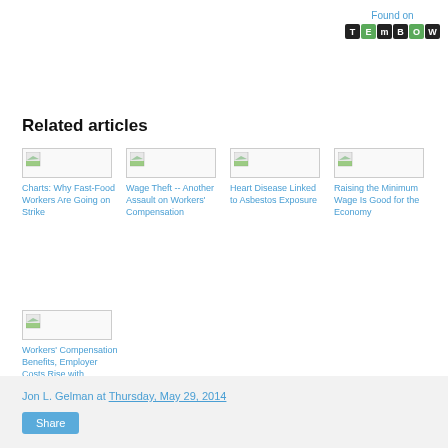[Figure (logo): Found on TEMBOW logo in top right corner]
Related articles
[Figure (thumbnail): Article thumbnail image placeholder]
Charts: Why Fast-Food Workers Are Going on Strike
[Figure (thumbnail): Article thumbnail image placeholder]
Wage Theft -- Another Assault on Workers' Compensation
[Figure (thumbnail): Article thumbnail image placeholder]
Heart Disease Linked to Asbestos Exposure
[Figure (thumbnail): Article thumbnail image placeholder]
Raising the Minimum Wage Is Good for the Economy
[Figure (thumbnail): Article thumbnail image placeholder]
Workers' Compensation Benefits, Employer Costs Rise with
Jon L. Gelman at Thursday, May 29, 2014
Share